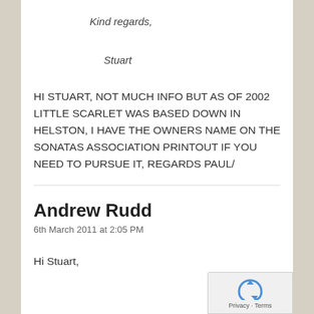Kind regards,
Stuart
HI STUART, NOT MUCH INFO BUT AS OF 2002 LITTLE SCARLET WAS BASED DOWN IN HELSTON, I HAVE THE OWNERS NAME ON THE SONATAS ASSOCIATION PRINTOUT IF YOU NEED TO PURSUE IT, REGARDS PAUL/
Andrew Rudd
6th March 2011 at 2:05 PM
Hi Stuart,